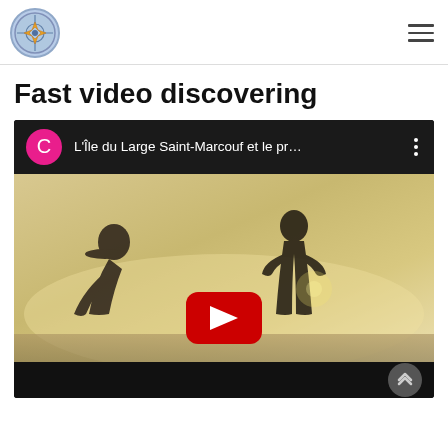[Figure (logo): Circular logo with blue/grey tones representing L'Île du Large Saint-Marcouf website]
Fast video discovering
[Figure (screenshot): YouTube video embed showing L'Île du Large Saint-Marcouf et le pr... with two silhouetted figures against a bright sky background and YouTube play button overlay]